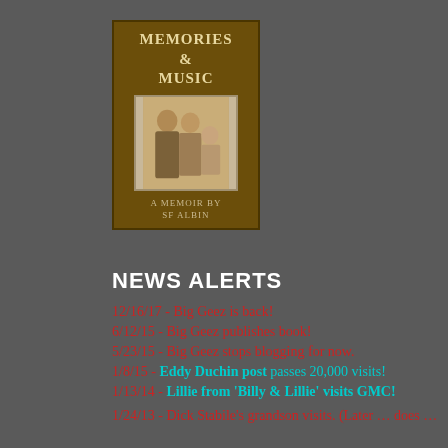[Figure (illustration): Book cover for 'Memories & Music: A Memoir By SF Albin' — dark brown cover with serif title text at top and a vintage sepia family photograph showing two adults and a baby in the center]
NEWS ALERTS
12/16/17 - Big Geez is back!
6/12/15 - Big Geez publishes book!
5/23/15 - Big Geez stops blogging for now.
1/8/15 - Eddy Duchin post passes 20,000 visits!
1/13/14 - Lillie from 'Billy & Lillie' visits GMC!
1/24/13 - Dick Stabile's grandson visits. (Later ... does ...